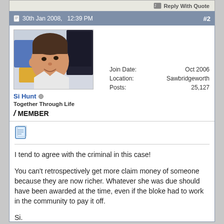Reply With Quote
30th Jan 2008, 12:39 PM #2
[Figure (photo): Forum user avatar photo showing a person (Si Hunt) tilting their head sideways toward the camera in what appears to be an office or indoor environment]
Si Hunt
Together Through Life
MEMBER
Join Date: Oct 2006
Location: Sawbridgeworth
Posts: 25,127
I tend to agree with the criminal in this case!

You can't retrospectively get more claim money of someone because they are now richer. Whatever she was due should have been awarded at the time, even if the bloke had to work in the community to pay it off.

Si.